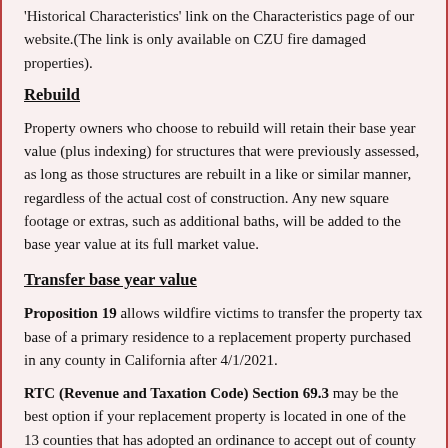'Historical Characteristics' link on the Characteristics page of our website.(The link is only available on CZU fire damaged properties).
Rebuild
Property owners who choose to rebuild will retain their base year value (plus indexing) for structures that were previously assessed, as long as those structures are rebuilt in a like or similar manner, regardless of the actual cost of construction. Any new square footage or extras, such as additional baths, will be added to the base year value at its full market value.
Transfer base year value
Proposition 19 allows wildfire victims to transfer the property tax base of a primary residence to a replacement property purchased in any county in California after 4/1/2021.
RTC (Revenue and Taxation Code) Section 69.3 may be the best option if your replacement property is located in one of the 13 counties that has adopted an ordinance to accept out of county transfers. As of 5/6/2021, those counties included: Contra Costa, Glenn, Los Angeles, Modoc, Orange, San Diego, San Francisco